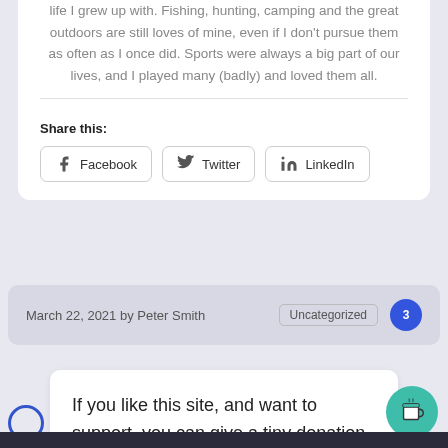life I grew up with. Fishing, hunting, camping and the great outdoors are still loves of mine, even if I don't pursue them as often as I once did. Sports were always a big part of our lives, and I played many (badly) and loved them all.
Share this:
Facebook
Twitter
LinkedIn
March 22, 2021 by Peter Smith  Uncategorized  3
If you like this site, and want to support, you can give a tiny donation here!